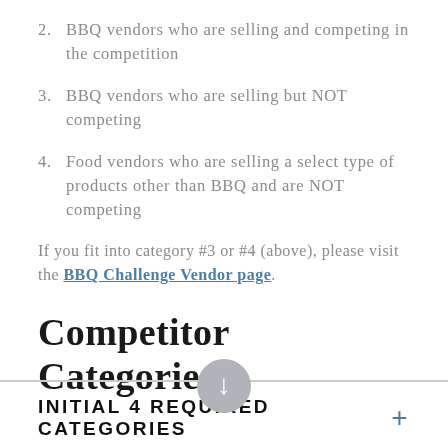2. BBQ vendors who are selling and competing in the competition
3. BBQ vendors who are selling but NOT competing
4. Food vendors who are selling a select type of products other than BBQ and are NOT competing
If you fit into category #3 or #4 (above), please visit the BBQ Challenge Vendor page.
Competitor Categories
INITIAL 4 REQUIRED CATEGORIES